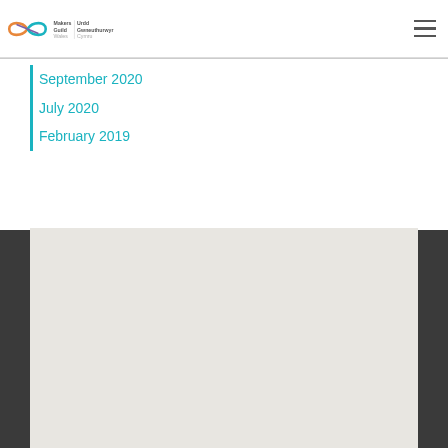Makers Guild Wales | Urdd Gwneuthurwyr Cymru
September 2020
July 2020
February 2019
[Figure (map): Embedded map placeholder in the dark footer section of the Makers Guild Wales website]